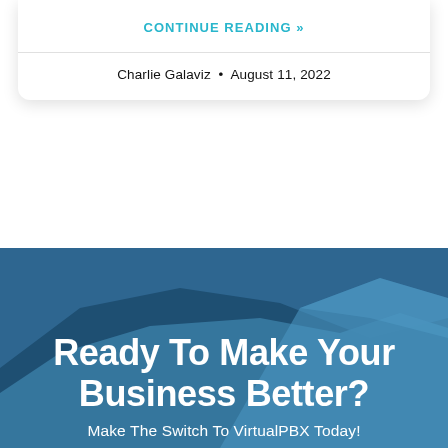CONTINUE READING »
Charlie Galaviz • August 11, 2022
[Figure (illustration): Blue geometric/angular wave banner background with two overlapping triangular/mountain shapes in dark and medium blue]
Ready To Make Your Business Better?
Make The Switch To VirtualPBX Today!